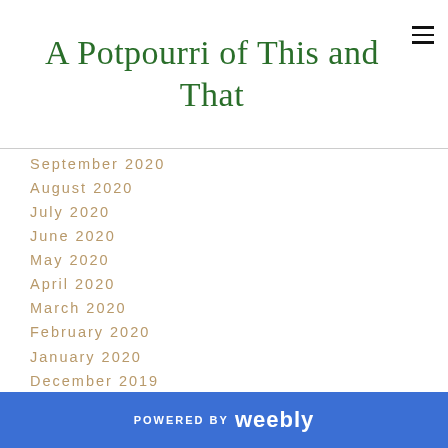A Potpourri of This and That
September 2020
August 2020
July 2020
June 2020
May 2020
April 2020
March 2020
February 2020
January 2020
December 2019
November 2019
October 2019
September 2019
POWERED BY weebly